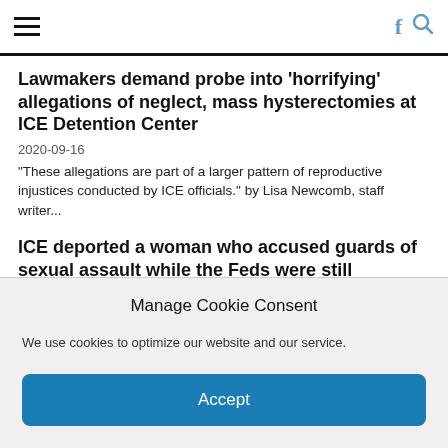≡  f 🔍
Lawmakers demand probe into 'horrifying' allegations of neglect, mass hysterectomies at ICE Detention Center
2020-09-16
"These allegations are part of a larger pattern of reproductive injustices conducted by ICE officials." by Lisa Newcomb, staff writer...
ICE deported a woman who accused guards of sexual assault while the Feds were still investigating the incident
2020-09-16
The DHS and DOJ inspectors general are investigating allegations that ICE guards assaulted detainees in camera blind spots. DHS
Manage Cookie Consent
We use cookies to optimize our website and our service.
Accept